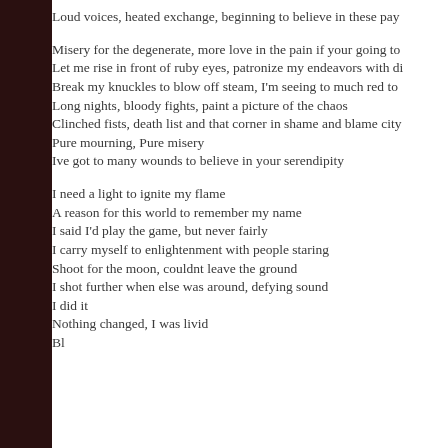Loud voices, heated exchange, beginning to believe in these pay…
Misery for the degenerate, more love in the pain if your going to…
Let me rise in front of ruby eyes, patronize my endeavors with di…
Break my knuckles to blow off steam, I'm seeing to much red to…
Long nights, bloody fights, paint a picture of the chaos
Clinched fists, death list and that corner in shame and blame city…
Pure mourning, Pure misery
Ive got to many wounds to believe in your serendipity
I need a light to ignite my flame
A reason for this world to remember my name
I said I'd play the game, but never fairly
I carry myself to enlightenment with people staring
Shoot for the moon, couldnt leave the ground
I shot further when else was around, defying sound
I did it
Nothing changed, I was livid
Bl…